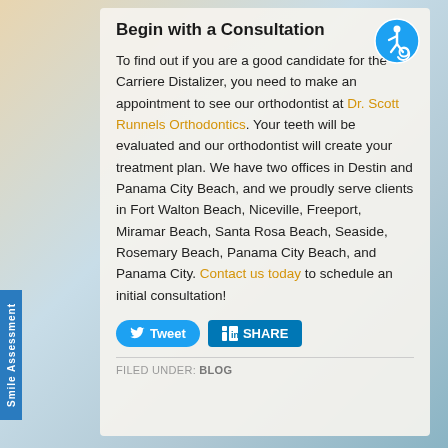Begin with a Consultation
To find out if you are a good candidate for the Carriere Distalizer, you need to make an appointment to see our orthodontist at Dr. Scott Runnels Orthodontics. Your teeth will be evaluated and our orthodontist will create your treatment plan. We have two offices in Destin and Panama City Beach, and we proudly serve clients in Fort Walton Beach, Niceville, Freeport, Miramar Beach, Santa Rosa Beach, Seaside, Rosemary Beach, Panama City Beach, and Panama City. Contact us today to schedule an initial consultation!
[Figure (logo): Accessibility icon — blue circle with white wheelchair user symbol]
Tweet
SHARE
FILED UNDER: BLOG